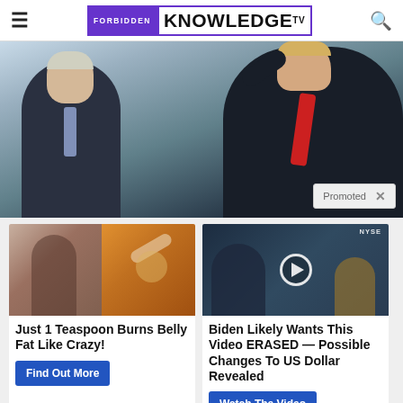FORBIDDEN KNOWLEDGE TV
[Figure (photo): Two men in suits, one waving, political event photo with 'Promoted' badge overlay]
[Figure (photo): Ad image split: fitness woman on left, spice/turmeric on right]
Just 1 Teaspoon Burns Belly Fat Like Crazy!
Find Out More
[Figure (screenshot): Video thumbnail of financial news broadcast with NYSE in background and play button overlay]
Biden Likely Wants This Video ERASED — Possible Changes To US Dollar Revealed
Watch The Video